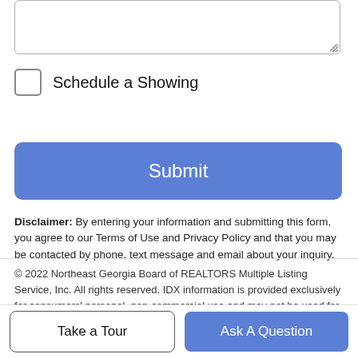[Figure (screenshot): Text area input box (partially visible top of page)]
Schedule a Showing
Submit
Disclaimer: By entering your information and submitting this form, you agree to our Terms of Use and Privacy Policy and that you may be contacted by phone, text message and email about your inquiry.
© 2022 Northeast Georgia Board of REALTORS Multiple Listing Service, Inc. All rights reserved. IDX information is provided exclusively for consumers' personal, non-commercial use and may not be used for any purpose other than to identify prospective properties consumers may be interested in purchasing. Information is deemed reliable but is not guaranteed accurate by the MLS or RE/MAX Town & Country.Data last updated: 2022-08-
Take a Tour
Ask A Question